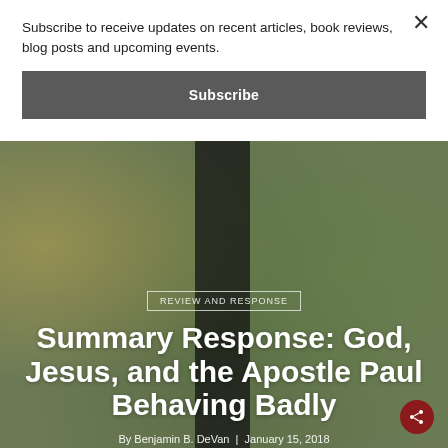Subscribe to receive updates on recent articles, book reviews, blog posts and upcoming events.
Subscribe
[Figure (photo): Background photo of a garden/outdoor scene with bokeh lighting and a dark vertical window frame element, with slight dark overlay]
Review and Response
Summary Response: God, Jesus, and the Apostle Paul Behaving Badly
By Benjamin B. DeVan  |  January 15, 2018  |  No Comments